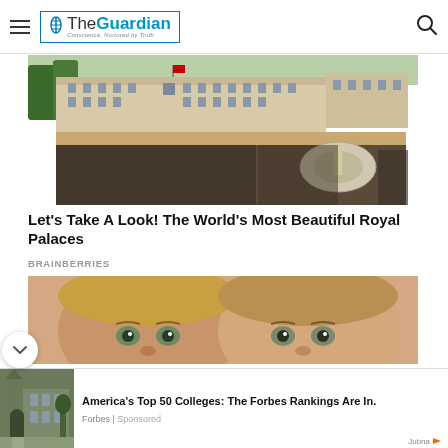The Guardian
[Figure (photo): Aerial view of Buckingham Palace with large crowd gathered in front]
Let's Take A Look! The World's Most Beautiful Royal Palaces
BRAINBERRIES
[Figure (photo): Close-up of two children's faces peering upward]
[Figure (photo): Advertisement image showing a Gothic-style college building]
America's Top 50 Colleges: The Forbes Rankings Are In.
Forbes | Sponsored
Jubna